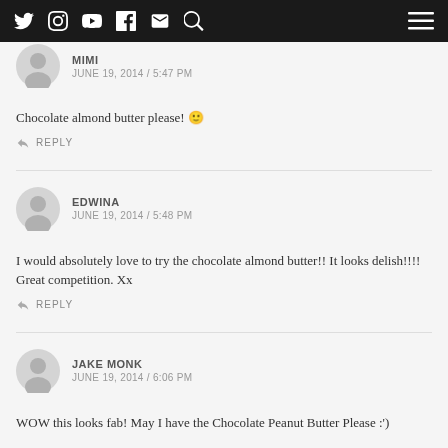Navigation bar with social icons: Twitter, Instagram, YouTube, Facebook, Email, Search, and hamburger menu
MIMI
JUNE 19, 2014 / 5:47 PM
Chocolate almond butter please! 🙂
REPLY
EDWINA
JUNE 19, 2014 / 5:48 PM
I would absolutely love to try the chocolate almond butter!! It looks delish!!!! Great competition. Xx
REPLY
JAKE MONK
JUNE 19, 2014 / 6:06 PM
WOW this looks fab! May I have the Chocolate Peanut Butter Please :')